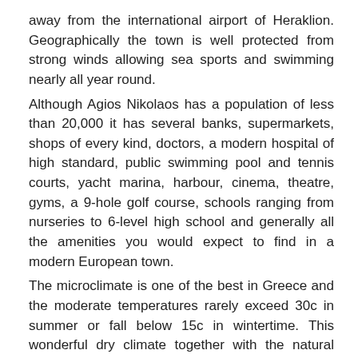away from the international airport of Heraklion. Geographically the town is well protected from strong winds allowing sea sports and swimming nearly all year round.
Although Agios Nikolaos has a population of less than 20,000 it has several banks, supermarkets, shops of every kind, doctors, a modern hospital of high standard, public swimming pool and tennis courts, yacht marina, harbour, cinema, theatre, gyms, a 9-hole golf course, schools ranging from nurseries to 6-level high school and generally all the amenities you would expect to find in a modern European town.
The microclimate is one of the best in Greece and the moderate temperatures rarely exceed 30c in summer or fall below 15c in wintertime. This wonderful dry climate together with the natural beauty of the area has attracted most of the high class hotels of Greece to operate here.
Measurements and distances are approximate and intended as a guide only.
The price does not include buyer's purchase expenses (purchase